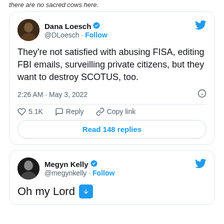there are no sacred cows here.
[Figure (screenshot): Tweet by Dana Loesch (@DLoesch): They're not satisfied with abusing FISA, editing FBI emails, surveilling private citizens, but they want to destroy SCOTUS, too. 2:26 AM · May 3, 2022. 5.1K likes. Read 148 replies.]
[Figure (screenshot): Tweet by Megyn Kelly (@megynkelly): Oh my Lord [down arrow emoji]. Partial tweet visible.]